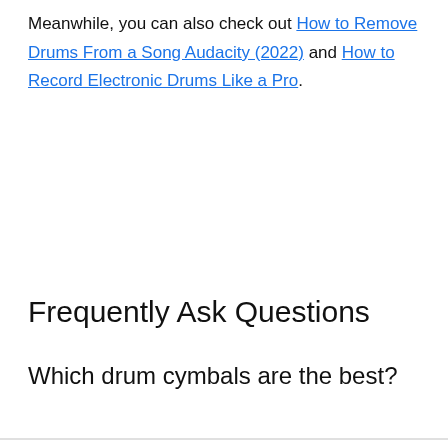Meanwhile, you can also check out How to Remove Drums From a Song Audacity (2022) and How to Record Electronic Drums Like a Pro.
Frequently Ask Questions
Which drum cymbals are the best?
We use cookies on our website to give you the most relevant experience by remembering your preferences and repeat visits. By clicking “Accept”, you consent to the use of ALL the cookies.
Do not sell my personal information.
[Figure (other): Advertisement strip showing product thumbnail images of phone cases/straps and ad badge with play icon and close button]